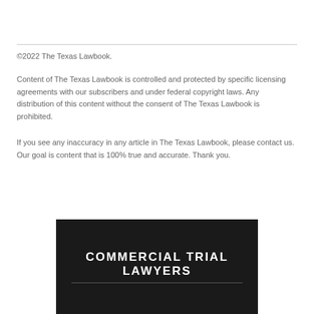©2022 The Texas Lawbook.
Content of The Texas Lawbook is controlled and protected by specific licensing agreements with our subscribers and under federal copyright laws. Any distribution of this content without the consent of The Texas Lawbook is prohibited.
If you see any inaccuracy in any article in The Texas Lawbook, please contact us. Our goal is content that is 100% true and accurate. Thank you.
[Figure (other): Dark banner with text COMMERCIAL TRIAL LAWYERS in white bold uppercase letters on a dark/black background]